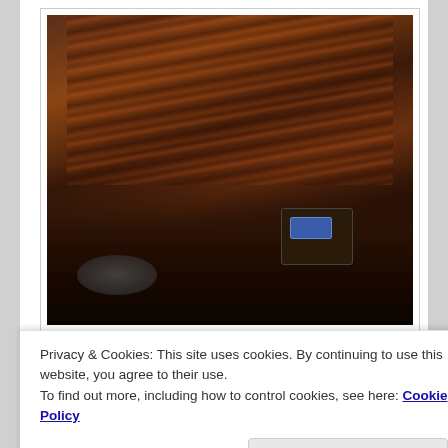[Figure (photo): A painting on a large canvas displayed on an easel in a studio, showing a dark wooden-textured background with an antique radio and scattered objects at the bottom. The painting features rich wood grain textures in browns and dark tones.]
Just had to share this. You're looking at a quick and dirty
Privacy & Cookies: This site uses cookies. By continuing to use this website, you agree to their use.
To find out more, including how to control cookies, see here: Cookie Policy
Close and accept
doodled and hand-scribbled mess with vague notes. This